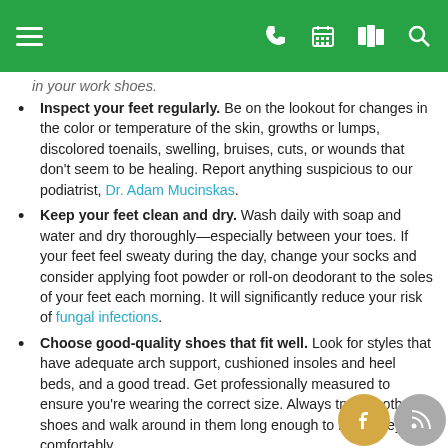Navigation header with hamburger menu, phone, calendar, map, and search icons
in your work shoes.
Inspect your feet regularly. Be on the lookout for changes in the color or temperature of the skin, growths or lumps, discolored toenails, swelling, bruises, cuts, or wounds that don't seem to be healing. Report anything suspicious to our podiatrist, Dr. Adam Mucinskas.
Keep your feet clean and dry. Wash daily with soap and water and dry thoroughly—especially between your toes. If your feet feel sweaty during the day, change your socks and consider applying foot powder or roll-on deodorant to the soles of your feet each morning. It will significantly reduce your risk of fungal infections.
Choose good-quality shoes that fit well. Look for styles that have adequate arch support, cushioned insoles and heel beds, and a good tread. Get professionally measured to ensure you're wearing the correct size. Always try on both shoes and walk around in them long enough to know they fit comfortably.
Trim toenails properly. Cut straight across and file with no rounded edges. It will help prevent ingrown toenails.
Alternate your shoes. Avoid wearing the same pair for